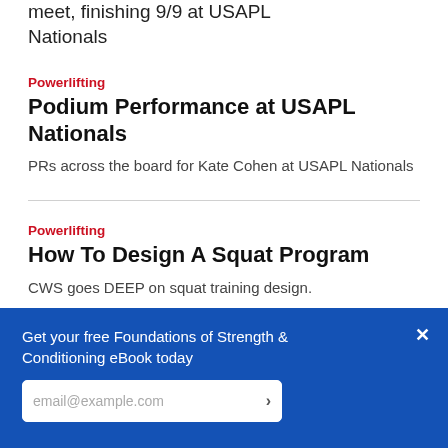meet, finishing 9/9 at USAPL Nationals
Powerlifting
Podium Performance at USAPL Nationals
PRs across the board for Kate Cohen at USAPL Nationals
Powerlifting
How To Design A Squat Program
CWS goes DEEP on squat training design.
Get your free Foundations of Strength & Conditioning eBook today